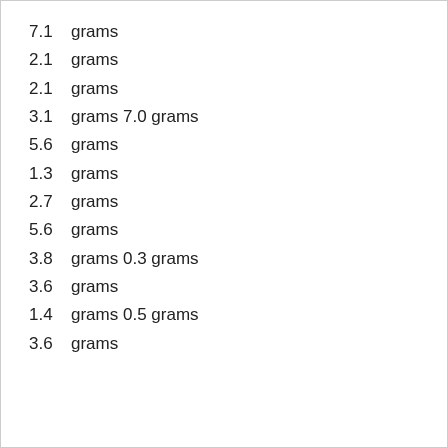7.1    grams
2.1    grams
2.1    grams
3.1    grams 7.0 grams
5.6    grams
1.3    grams
2.7    grams
5.6    grams
3.8    grams 0.3 grams
3.6    grams
1.4    grams 0.5 grams
3.6    grams